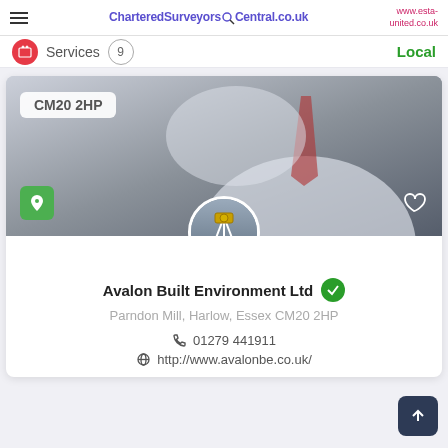CharteredSurveyorsCentral.co.uk | www.esta-united.co.uk
Services 9 Local
[Figure (screenshot): Business listing card for Avalon Built Environment Ltd showing a hero image of a professional in a white shirt with red tie holding documents, postcode badge CM20 2HP, avatar circular image of surveying equipment on a tripod, company name with verified checkmark, address Parndon Mill Harlow Essex CM20 2HP, phone 01279 441911, and website http://www.avalonbe.co.uk/]
Avalon Built Environment Ltd
Parndon Mill, Harlow, Essex CM20 2HP
01279 441911
http://www.avalonbe.co.uk/